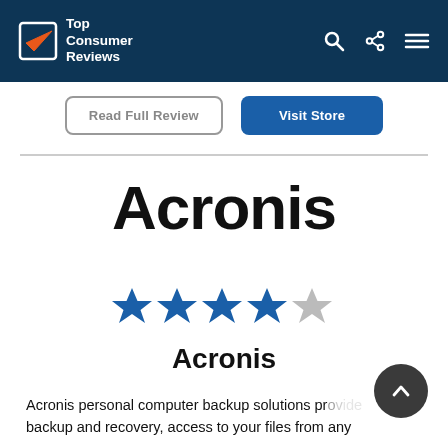Top Consumer Reviews
Read Full Review | Visit Store
Acronis
[Figure (other): 4 out of 5 blue stars rating]
Acronis
Acronis personal computer backup solutions provide backup and recovery, access to your files from any